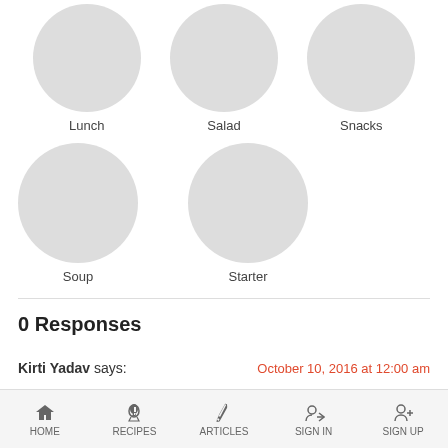[Figure (illustration): Three circular placeholder images in a row labeled Lunch, Salad, Snacks]
Lunch
Salad
Snacks
[Figure (illustration): Two circular placeholder images in a row labeled Soup and Starter]
Soup
Starter
0 Responses
Kirti Yadav says:
October 10, 2016 at 12:00 am
HOME  RECIPES  ARTICLES  SIGN IN  SIGN UP